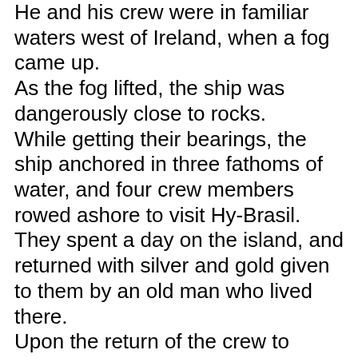He and his crew were in familiar waters west of Ireland, when a fog came up. As the fog lifted, the ship was dangerously close to rocks. While getting their bearings, the ship anchored in three fathoms of water, and four crew members rowed ashore to visit Hy-Brasil. They spent a day on the island, and returned with silver and gold given to them by an old man who lived there. Upon the return of the crew to Ireland, a second ship set out under the command of Alexander Johnson. They, too, found the hospitable island of Hy-Brasil and returned to Ireland to confirm the tales of Captain Nisbet and crew.
The last documented sighting of Hy-Brasil...